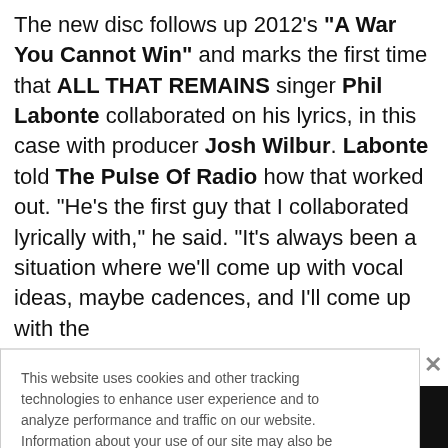The new disc follows up 2012's "A War You Cannot Win" and marks the first time that ALL THAT REMAINS singer Phil Labonte collaborated on his lyrics, in this case with producer Josh Wilbur. Labonte told The Pulse Of Radio how that worked out. "He's the first guy that I collaborated lyrically with," he said. "It's always been a situation where we'll come up with vocal ideas, maybe cadences, and I'll come up with the
This website uses cookies and other tracking technologies to enhance user experience and to analyze performance and traffic on our website. Information about your use of our site may also be shared with social media, advertising, retail and analytics providers and partners. Privacy Policy
[Figure (infographic): Advertisement banner for Carpenter Brut - SAT. SEPTEMBER 3 - THE FILLMORE SILVER SPRING, with red gothic lettering and a stylized figure on dark background]